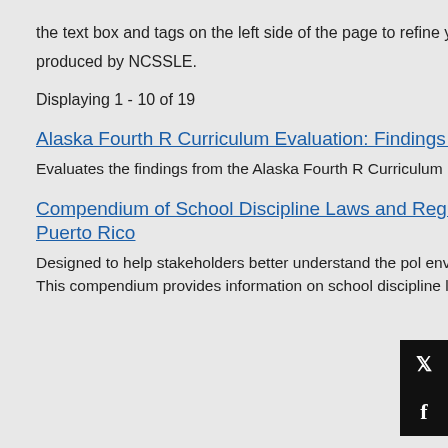the text box and tags on the left side of the page to refine your search. The NCSSLE logo appears next to resources produced by NCSSLE.
Displaying 1 - 10 of 19
Alaska Fourth R Curriculum Evaluation: Findings Report 2011-2014
Research
Evaluates the findings from the Alaska Fourth R Curriculum Evaluation Project, a three-year, multi-site program evaluation.
Compendium of School Discipline Laws and Regulations for the 50 States, Washington D.C. and Puerto Rico
Products
Designed to help stakeholders better understand the policy environment surrounding current school discipline practices in our country. This compendium provides information on school discipline laws and administrativ